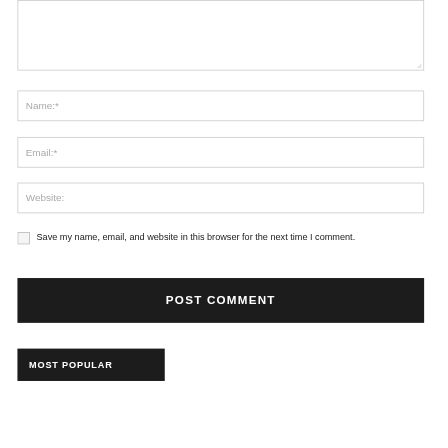[Figure (screenshot): Comment form textarea input box (empty, resizable)]
Name:*
Email:*
Website:
Save my name, email, and website in this browser for the next time I comment.
POST COMMENT
MOST POPULAR